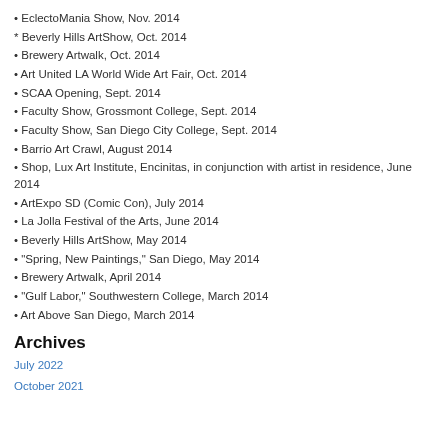• EclectoMania Show, Nov. 2014
* Beverly Hills ArtShow, Oct. 2014
• Brewery Artwalk, Oct. 2014
• Art United LA World Wide Art Fair, Oct. 2014
• SCAA Opening, Sept. 2014
• Faculty Show, Grossmont College, Sept. 2014
• Faculty Show, San Diego City College, Sept. 2014
• Barrio Art Crawl, August 2014
• Shop, Lux Art Institute, Encinitas, in conjunction with artist in residence, June 2014
• ArtExpo SD (Comic Con), July 2014
• La Jolla Festival of the Arts, June 2014
• Beverly Hills ArtShow, May 2014
• "Spring, New Paintings," San Diego, May 2014
• Brewery Artwalk, April 2014
• "Gulf Labor," Southwestern College, March 2014
• Art Above San Diego, March 2014
Archives
July 2022
October 2021